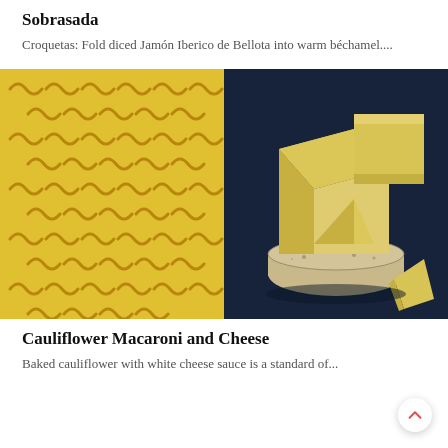Sobrasada
Croquetas: Fold diced Jamón Iberico de Bellota into warm béchamel....
[Figure (photo): Close-up photo of golden yellow dried pasta (fusilli/rotini shapes) arranged on a yellow background]
[Figure (photo): Photo of stacked cheese wedges and a wheel of cheese against a dark navy blue background]
Cauliflower Macaroni and Cheese
Baked cauliflower with white cheese sauce is a standard of...